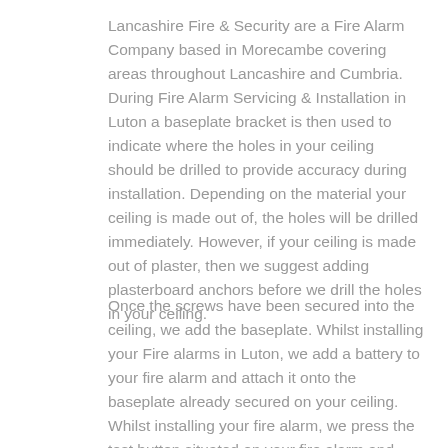Lancashire Fire & Security are a Fire Alarm Company based in Morecambe covering areas throughout Lancashire and Cumbria. During Fire Alarm Servicing & Installation in Luton a baseplate bracket is then used to indicate where the holes in your ceiling should be drilled to provide accuracy during installation. Depending on the material your ceiling is made out of, the holes will be drilled immediately. However, if your ceiling is made out of plaster, then we suggest adding plasterboard anchors before we drill the holes in your ceiling.
Once the screws have been secured into the ceiling, we add the baseplate. Whilst installing your Fire alarms in Luton, we add a battery to your fire alarm and attach it onto the baseplate already secured on your ceiling. Whilst installing your fire alarm, we press the test button situated on your fire alarm and check it is working. This will count as your first 6-